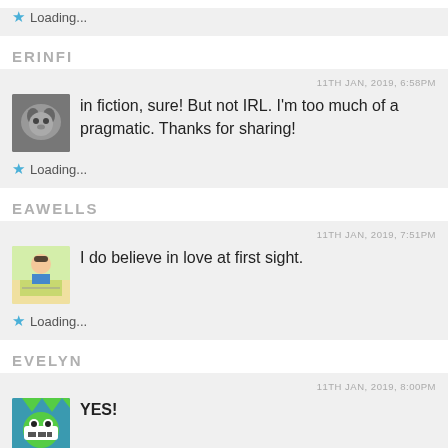Loading...
ERINFI
11TH JAN, 2019, 6:58PM
in fiction, sure! But not IRL. I'm too much of a pragmatic. Thanks for sharing!
Loading...
EAWELLS
11TH JAN, 2019, 7:51PM
I do believe in love at first sight.
Loading...
EVELYN
11TH JAN, 2019, 8:00PM
YES!
Loading...